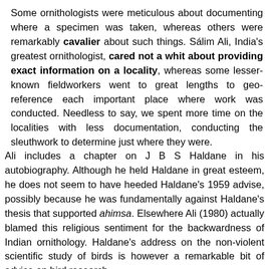Some ornithologists were meticulous about documenting where a specimen was taken, whereas others were remarkably cavalier about such things. Sálim Ali, India's greatest ornithologist, cared not a whit about providing exact information on a locality, whereas some lesser-known fieldworkers went to great lengths to geo-reference each important place where work was conducted. Needless to say, we spent more time on the localities with less documentation, conducting the sleuthwork to determine just where they were.
Ali includes a chapter on J B S Haldane in his autobiography. Although he held Haldane in great esteem, he does not seem to have heeded Haldane's 1959 advise, possibly because he was fundamentally against Haldane's thesis that supported ahimsa. Elsewhere Ali (1980) actually blamed this religious sentiment for the backwardness of Indian ornithology. Haldane's address on the non-violent scientific study of birds is however a remarkable bit of advice on bird research.